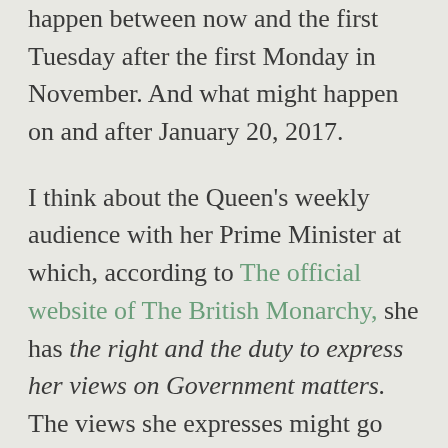happen between now and the first Tuesday after the first Monday in November. And what might happen on and after January 20, 2017.
I think about the Queen's weekly audience with her Prime Minister at which, according to The official website of The British Monarchy, she has the right and the duty to express her views on Government matters. The views she expresses might go something like this:
[Figure (photo): Image placeholder showing 'President Barack Obama and First Lady Michelle...']